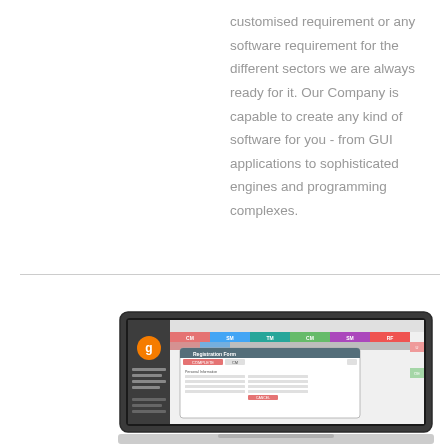customised requirement or any software requirement for the different sectors we are always ready for it. Our Company is capable to create any kind of software for you - from GUI applications to sophisticated engines and programming complexes.
[Figure (screenshot): Screenshot of a software application interface shown on a laptop/monitor. The interface shows a dashboard with colored header columns (CM, SM, TM, CM, SM, RF) in pink/red, blue, teal, and green. A modal dialog box labeled 'Registration Form' is open over the main content. A circular orange logo with 'g' is visible on the left sidebar. The application appears to be 'Genius Office' software.]